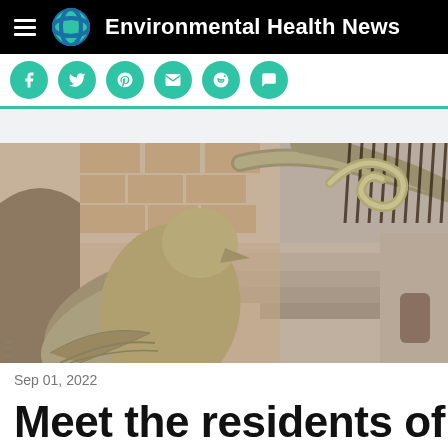Environmental Health News
[Figure (photo): Stone eagle or griffin sculpture on steps of a historic red sandstone building, with wrought iron railing visible in the background.]
Sep 01, 2022
Meet the residents of...